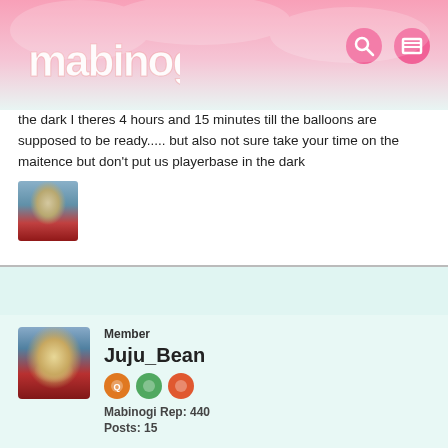[Figure (screenshot): Mabinogi website header with pink gradient background, logo on left, search and menu icons on right]
the dark I theres 4 hours and 15 minutes till the balloons are supposed to be ready..... but also not sure take your time on the maitence but don't put us playerbase in the dark
[Figure (illustration): Small avatar image of a game character in armor]
Member
Juju_Bean
Mabinogi Rep: 440
Posts: 15
JULY 3, 2019
I hope they will be extending the event once they finally get it going. I'm also hoping for the sake of others they don't have Roll back, that sounds so awful.